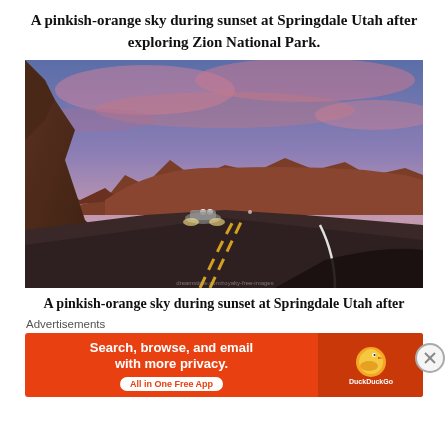A pinkish-orange sky during sunset at Springdale Utah after exploring Zion National Park.
[Figure (photo): View from inside a car driving through a canyon road at dusk near Springdale, Utah. The sky is pinkish-purple with cloud streaks. Red rock formations visible on the horizon. A car with headlights on is visible in the oncoming lane. Yellow center line and white edge line on the dark road. The car's dashboard is visible at bottom right.]
A pinkish-orange sky during sunset at Springdale Utah after
Advertisements
[Figure (infographic): DuckDuckGo advertisement banner. Orange background. Text: Search, browse, and email with more privacy. All in One Free App. DuckDuckGo logo on right side.]